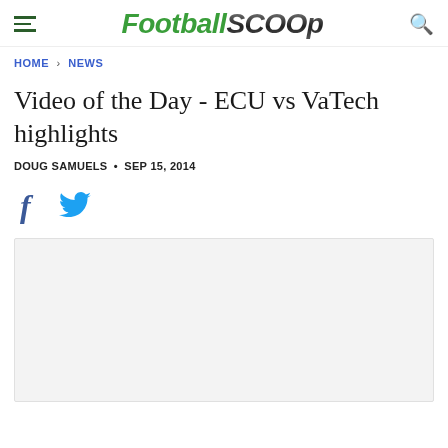FootballScoop
HOME > NEWS
Video of the Day - ECU vs VaTech highlights
DOUG SAMUELS • SEP 15, 2014
[Figure (other): Facebook and Twitter share icons]
[Figure (other): Video embed placeholder area with light gray background]